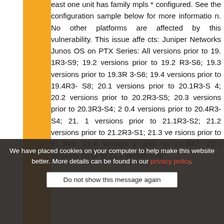east one unit has family mpls * configured. See the configuration sample below for more information. No other platforms are affected by this vulnerability. This issue affects: Juniper Networks Junos OS on PTX Series: All versions prior to 19.1R3-S9; 19.2 versions prior to 19.2R3-S6; 19.3 versions prior to 19.3R3-S6; 19.4 versions prior to 19.4R3-S8; 20.1 versions prior to 20.1R3-S4; 20.2 versions prior to 20.2R3-S5; 20.3 versions prior to 20.3R3-S4; 20.4 versions prior to 20.4R3-S4; 21.1 versions prior to 21.1R3-S2; 21.2 versions prior to 21.2R3-S1; 21.3 versions prior to 21.3R3; 21.4 versions prior to 21.4R2; 22.1 versions prior to 22.1 versions pri...
We have placed cookies on your computer to help make this website better. More details can be found in our privacy policy.
Do not show this message again